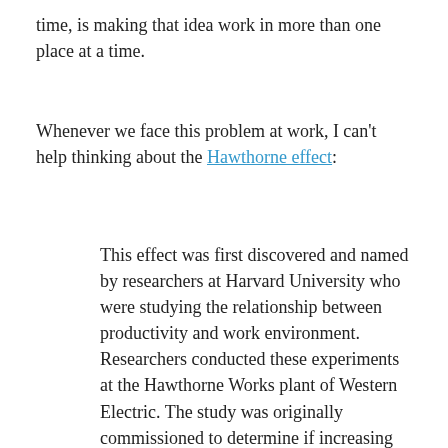time, is making that idea work in more than one place at a time.
Whenever we face this problem at work, I can't help thinking about the Hawthorne effect:
This effect was first discovered and named by researchers at Harvard University who were studying the relationship between productivity and work environment. Researchers conducted these experiments at the Hawthorne Works plant of Western Electric. The study was originally commissioned to determine if increasing or decreasing the amount of light workers received increased or decreased worker productivity. The researchers found that productivity...